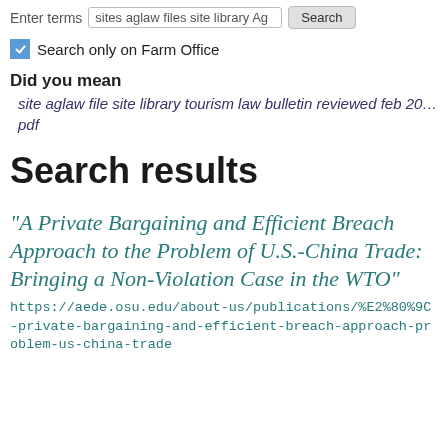Enter terms  sites aglaw files site library Ag…  Search
Search only on Farm Office
Did you mean
site aglaw file site library tourism law bulletin reviewed feb 20… pdf
Search results
“A Private Bargaining and Efficient Breach Approach to the Problem of U.S.-China Trade: Bringing a Non-Violation Case in the WTO”
https://aede.osu.edu/about-us/publications/%E2%80%9C-private-bargaining-and-efficient-breach-approach-problem-us-china-trade